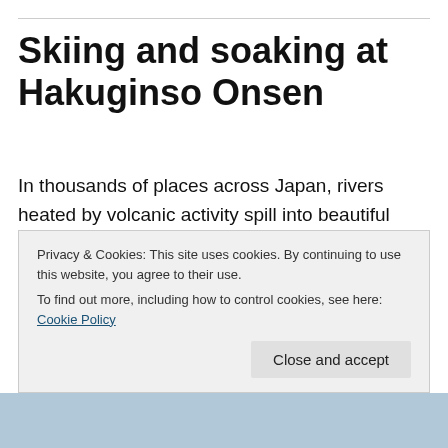Skiing and soaking at Hakuginso Onsen
In thousands of places across Japan, rivers heated by volcanic activity spill into beautiful rock-lined hot springs, known as onsen.
Hakuginso Onsen is one of many located along the edges of Daisetsuzan National Park and the Tokachi mountain range, among the tallest peaks in Hokkaido. The
Privacy & Cookies: This site uses cookies. By continuing to use this website, you agree to their use.
To find out more, including how to control cookies, see here: Cookie Policy
Close and accept